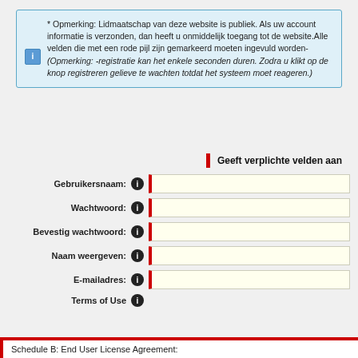* Opmerking: Lidmaatschap van deze website is publiek. Als uw account informatie is verzonden, dan heeft u onmiddelijk toegang tot de website.Alle velden die met een rode pijl zijn gemarkeerd moeten ingevuld worden- (Opmerking: -registratie kan het enkele seconden duren. Zodra u klikt op de knop registreren gelieve te wachten totdat het systeem moet reageren.)
Geeft verplichte velden aan
Gebruikersnaam:
Wachtwoord:
Bevestig wachtwoord:
Naam weergeven:
E-mailadres:
Terms of Use
Schedule B:  End User License Agreement: